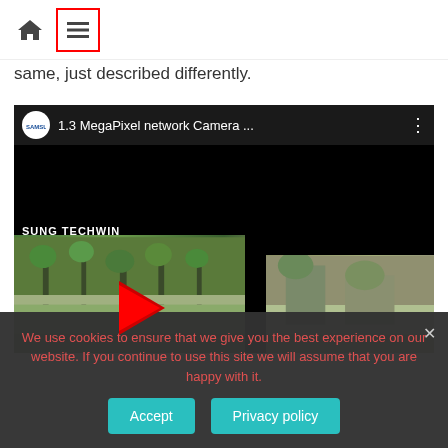Home icon and menu icon navigation bar
same, just described differently.
[Figure (screenshot): YouTube-style video player showing Samsung 1.3 MegaPixel network Camera video with Samsung Techwin branding, outdoor surveillance camera footage with trees and road, red YouTube play button overlay]
We use cookies to ensure that we give you the best experience on our website. If you continue to use this site we will assume that you are happy with it.
Accept   Privacy policy